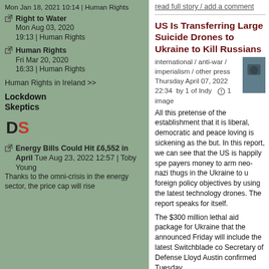read full story / add a comment
US Is Transferring Large Suicide Drones to Ukraine to Kill Russians
international / anti-war / imperialism / other press
Thursday April 07, 2022 22:34  by 1 of Indy   1 image
All this pretense of the establishment that it is liberal, democratic and peace loving is sickening as the but. In this report, we can see that the US is happily spe payers money to arm neo-nazi thugs in the Ukraine to u foreign policy objectives by using the latest technology drones. The report speaks for itself.
The $300 million lethal aid package for Ukraine that the announced Friday will include the latest Switchblade co Secretary of Defense Lloyd Austin confirmed Tuesday.
According to Bloomberg, the White House previously a shipment of "series 300" Switchblade drones, which we can fly about six miles and stay aloft for about 15 minut "designed to attack personnel and light vehicles" with a roughly equivalent to a 40mm grenade.
read full story / add a comment
related link: https://anti-empire.com/us-is-transferring-large-suici ukraine-to-kill-russians/
Right to Water Mon Aug 03, 2020 19:13 | Human Rights
Human Rights Fri Mar 20, 2020 16:33 | Human Rights
Human Rights in Ireland >>
Lockdown Skeptics
[Figure (logo): DS logo in red and dark gray text]
Energy Bills Could Hit £6,552 in April Tue Aug 23, 2022 12:57 | Toby Young
Thanks to the omni-crisis in the energy sector, the price cap will rise